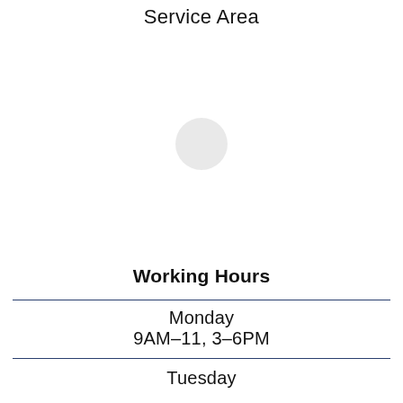Service Area
[Figure (map): A map showing a service area with a circular loading or location indicator in the center]
Working Hours
Monday
9AM–11, 3–6PM
Tuesday